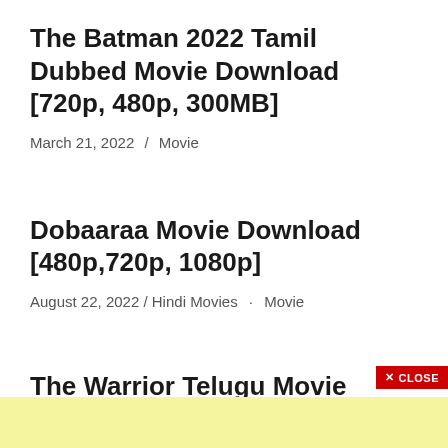The Batman 2022 Tamil Dubbed Movie Download [720p, 480p, 300MB]
March 21, 2022  /  Movie
Dobaaraa Movie Download [480p,720p, 1080p]
August 22, 2022  /  Hindi Movies  ·  Movie
The Warrior Telugu Movie Download
[Figure (other): Yellow advertisement overlay banner at bottom of page with a red CLOSE button]